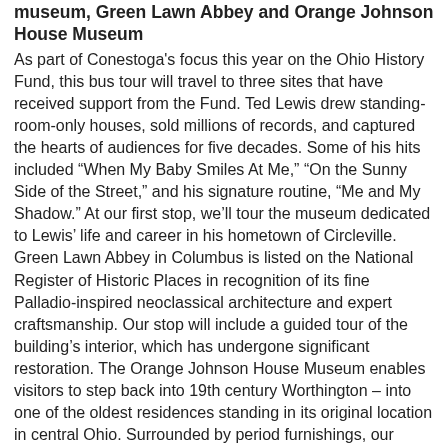museum, Green Lawn Abbey and Orange Johnson House Museum
As part of Conestoga's focus this year on the Ohio History Fund, this bus tour will travel to three sites that have received support from the Fund. Ted Lewis drew standing-room-only houses, sold millions of records, and captured the hearts of audiences for five decades. Some of his hits included “When My Baby Smiles At Me,” “On the Sunny Side of the Street,” and his signature routine, “Me and My Shadow.” At our first stop, we’ll tour the museum dedicated to Lewis’ life and career in his hometown of Circleville. Green Lawn Abbey in Columbus is listed on the National Register of Historic Places in recognition of its fine Palladio-inspired neoclassical architecture and expert craftsmanship. Our stop will include a guided tour of the building’s interior, which has undergone significant restoration. The Orange Johnson House Museum enables visitors to step back into 19th century Worthington – into one of the oldest residences standing in its original location in central Ohio. Surrounded by period furnishings, our guides will describe the everyday pursuits of Worthington’s early 19th century settlers. At each stop we’ll learn how the Ohio History Fund made a difference in these three very different, but equally significant, historical